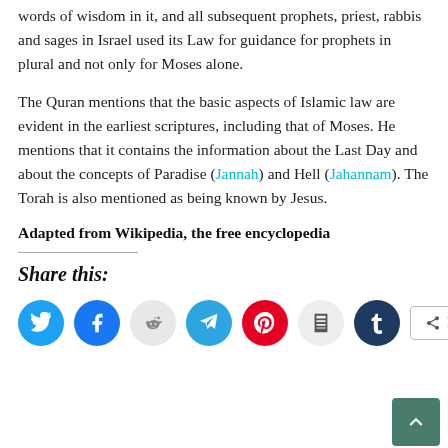words of wisdom in it, and all subsequent prophets, priest, rabbis and sages in Israel used its Law for guidance for prophets in plural and not only for Moses alone.
The Quran mentions that the basic aspects of Islamic law are evident in the earliest scriptures, including that of Moses. He mentions that it contains the information about the Last Day and about the concepts of Paradise (Jannah) and Hell (Jahannam). The Torah is also mentioned as being known by Jesus.
Adapted from Wikipedia, the free encyclopedia
Share this:
Twitter, Facebook, Reddit, Telegram, Pinterest, Print, Tumblr, More